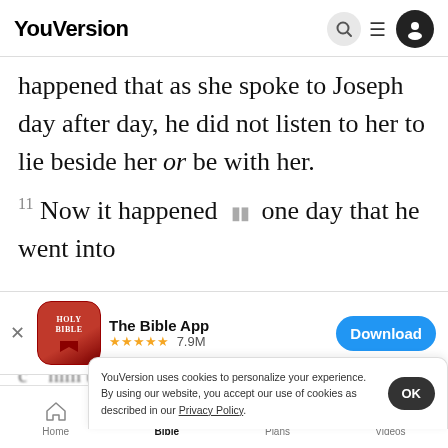YouVersion
happened that as she spoke to Joseph day after day, he did not listen to her to lie beside her or be with her.
11 Now it happened one day that he went into
[Figure (screenshot): The Bible App install banner with app icon, 5-star rating 7.9M reviews, and Download button]
c ... him by his garment, saying, "Lie with h ...
YouVersion uses cookies to personalize your experience. By using our website, you accept our use of cookies as described in our Privacy Policy.
And he ... went outside ... Now it happened, when she saw
Home  Bible  Plans  Videos